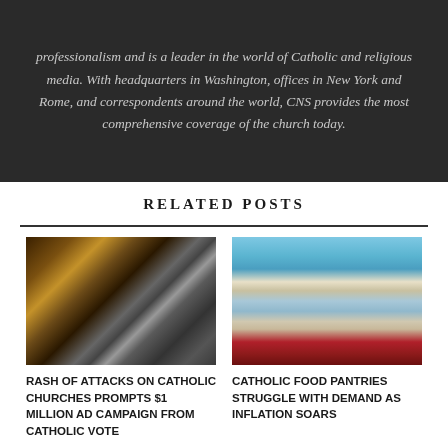professionalism and is a leader in the world of Catholic and religious media. With headquarters in Washington, offices in New York and Rome, and correspondents around the world, CNS provides the most comprehensive coverage of the church today.
RELATED POSTS
[Figure (photo): Composite photo: left side shows dark tangled branches or flames; right side shows a man wearing a cycling helmet and aviator sunglasses]
RASH OF ATTACKS ON CATHOLIC CHURCHES PROMPTS $1 MILLION AD CAMPAIGN FROM CATHOLIC VOTE
[Figure (photo): A person wearing a white cap and dark t-shirt carries a stack of white food containers outdoors near vehicles, under a blue sky]
CATHOLIC FOOD PANTRIES STRUGGLE WITH DEMAND AS INFLATION SOARS